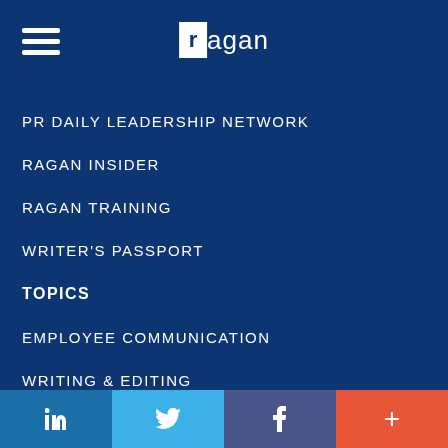Ragan logo / navigation header
PR DAILY LEADERSHIP NETWORK
RAGAN INSIDER
RAGAN TRAINING
WRITER'S PASSPORT
TOPICS
EMPLOYEE COMMUNICATION
WRITING & EDITING
SOCIAL MEDIA
MANAGER COMMUNICATIONS
in  (Twitter bird)  f  +